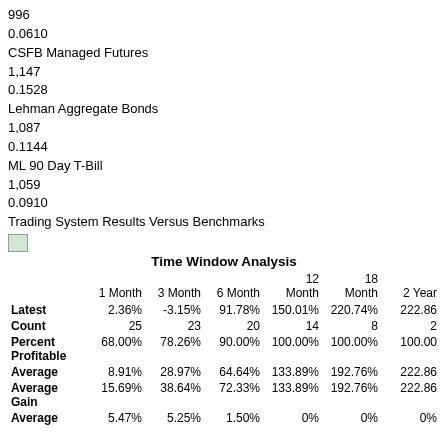996
0.0610
CSFB Managed Futures
1,147
0.1528
Lehman Aggregate Bonds
1,087
0.1144
ML 90 Day T-Bill
1,059
0.0910
Trading System Results Versus Benchmarks
[Figure (other): Small image icon (broken/placeholder image)]
|  | 1 Month | 3 Month | 6 Month | 12 Month | 18 Month | 2 Year |
| --- | --- | --- | --- | --- | --- | --- |
| Latest | 2.36% | -3.15% | 91.78% | 150.01% | 220.74% | 222.86 |
| Count | 25 | 23 | 20 | 14 | 8 | 2 |
| Percent Profitable | 68.00% | 78.26% | 90.00% | 100.00% | 100.00% | 100.00 |
| Average | 8.91% | 28.97% | 64.64% | 133.89% | 192.76% | 222.86 |
| Average Gain | 15.69% | 38.64% | 72.33% | 133.89% | 192.76% | 222.86 |
| Average | 5.47% | 5.25% | 1.50% | 0% | 0% | 0% |